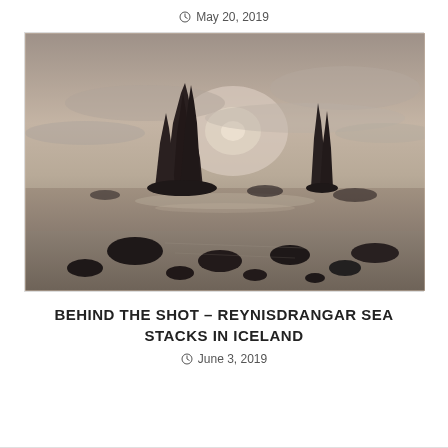May 20, 2019
[Figure (photo): Long-exposure black and white / sepia photograph of Reynisdrangar sea stacks in Iceland. Tall jagged basalt rock formations silhouetted against a glowing overcast sky, with a calm sea and scattered rocks in the foreground on a sandy beach.]
BEHIND THE SHOT – REYNISDRANGAR SEA STACKS IN ICELAND
June 3, 2019